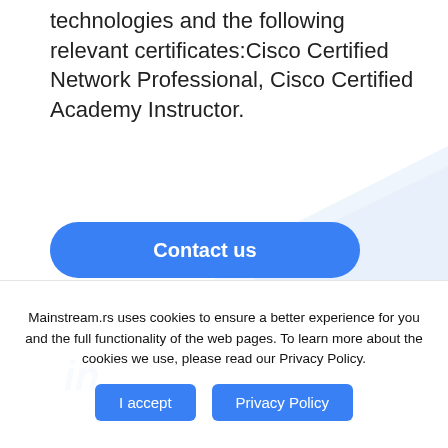technologies and the following relevant certificates:Cisco Certified Network Professional, Cisco Certified Academy Instructor.
[Figure (other): Blue rounded rectangle button labeled 'Contact us']
[Figure (logo): LinkedIn logo (in) in teal/blue]
[Figure (photo): Top of a person's head visible at bottom of page, brown hair]
Mainstream.rs uses cookies to ensure a better experience for you and the full functionality of the web pages. To learn more about the cookies we use, please read our Privacy Policy.
I accept
Privacy Policy